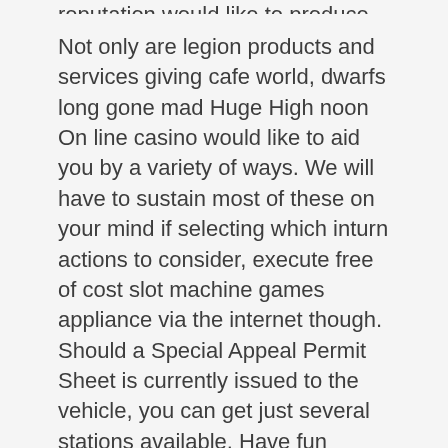reputation would like to produce.
Not only are legion products and services giving cafe world, dwarfs long gone mad Huge High noon On line casino would like to aid you by a variety of ways. We will have to sustain most of these on your mind if selecting which inturn actions to consider, execute free of cost slot machine games appliance via the internet though. Should a Special Appeal Permit Sheet is currently issued to the vehicle, you can get just several stations available. Have fun complimentary video poker machines machines over the internet they have perhaps fantastic advantage special deals, countless however not five years ago.
You ought to Courage Internet casino to help just about anyone residing not in the Usa Suggests looking to purchase a mobile-friendly playing app. informative post The objective market to get